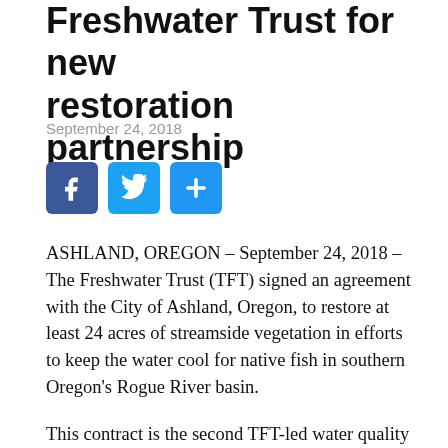Freshwater Trust for new restoration partnership
September 24, 2018
[Figure (other): Social media share buttons: Facebook, Twitter, and generic share button]
ASHLAND, OREGON – September 24, 2018 – The Freshwater Trust (TFT) signed an agreement with the City of Ashland, Oregon, to restore at least 24 acres of streamside vegetation in efforts to keep the water cool for native fish in southern Oregon's Rogue River basin.
This contract is the second TFT-led water quality trading program in the Rogue. In 2012, TFT partnered with the City of Medford to implement a nationally recognized trading program.
To ensure warm water discharged by Medford's